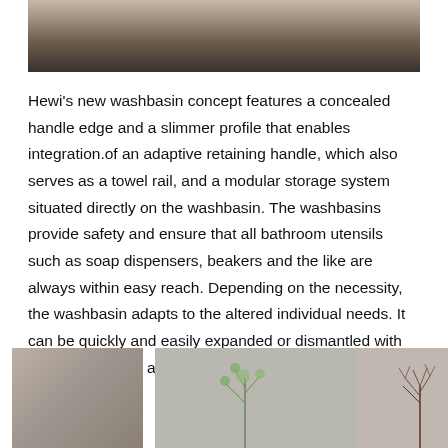[Figure (photo): Top portion of a washbasin or bathroom surface photo, cropped at the top of the page, showing a dark wooden floor and grey/stone surface.]
Hewi's new washbasin concept features a concealed handle edge and a slimmer profile that enables integration.of an adaptive retaining handle, which also serves as a towel rail, and a modular storage system situated directly on the washbasin. The washbasins provide safety and ensure that all bathroom utensils such as soap dispensers, beakers and the like are always within easy reach. Depending on the necessity, the washbasin adapts to the altered individual needs. It can be quickly and easily expanded or dismantled with practical shelves and utensils.
[Figure (photo): Three side-by-side photos at the bottom of the page showing textured stone/concrete surfaces. The middle photo has a green plant/tree branch, and the right photo shows a bare dark branch against a light background.]